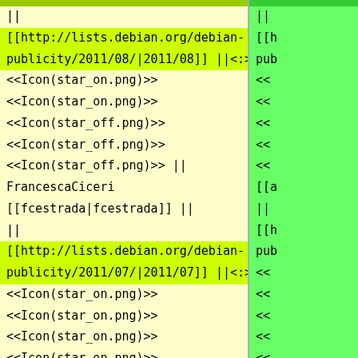|| 
[[http://lists.debian.org/debian-publicity/2011/08/|2011/08]] ||<:>
<<Icon(star_on.png)>>
<<Icon(star_on.png)>>
<<Icon(star_off.png)>>
<<Icon(star_off.png)>>
<<Icon(star_off.png)>> ||
FrancescaCiceri
[[fcestrada|fcestrada]] ||
||
[[http://lists.debian.org/debian-publicity/2011/07/|2011/07]] ||<:>
<<Icon(star_on.png)>>
<<Icon(star_on.png)>>
<<Icon(star_on.png)>>
<<Icon(star_on.png)>>
<<Icon(star_off.png)>> ||
FrancescaCiceri RuiBranco
||
[[h
pub
<<
<<
<<
<<
<<
[[a
||
[[h
pub
<<
<<
<<
<<
<<
[[a
||